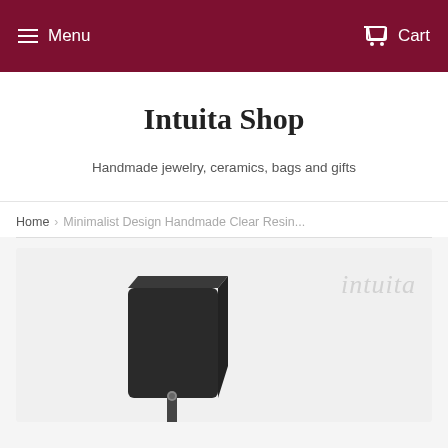Menu  Cart
Intuita Shop
Handmade jewelry, ceramics, bags and gifts
Home › Minimalist Design Handmade Clear Resin...
[Figure (photo): A dark rectangular handmade resin pendant/object with a silver hardware piece, displayed on a light grey background with the 'intuita' watermark in the upper right corner.]